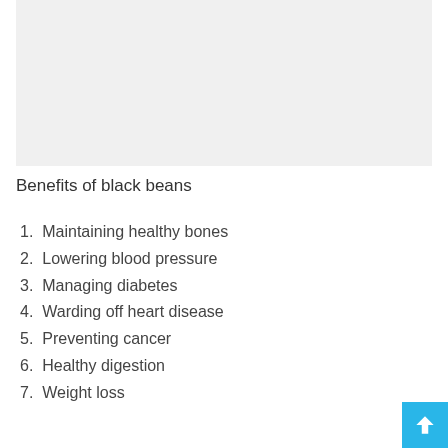[Figure (photo): Image placeholder area with light gray background, likely a photo of black beans]
Benefits of black beans
1. Maintaining healthy bones
2. Lowering blood pressure
3. Managing diabetes
4. Warding off heart disease
5. Preventing cancer
6. Healthy digestion
7. Weight loss